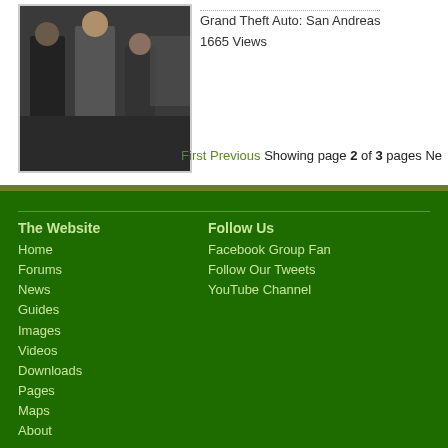[Figure (screenshot): Video thumbnail showing people standing indoors from Grand Theft Auto: San Andreas]
Grand Theft Auto: San Andreas
1665 Views
First Previous Showing page 2 of 3 pages Ne
The Website
Home
Forums
News
Guides
Images
Videos
Downloads
Pages
Maps
About
Follow Us
Facebook Group Fan
Follow Our Tweets
YouTube Channel
igrandtheftauto.com © iGrandTheftAuto & Simon 'Psy' Elliott 2008-2022. Po
GTA 5 | GTA San Andreas | Red Dead Redemption | GTA 4